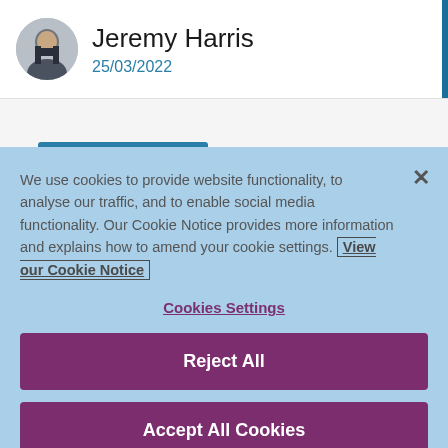Jeremy Harris
25/03/2022
We use cookies to provide website functionality, to analyse our traffic, and to enable social media functionality. Our Cookie Notice provides more information and explains how to amend your cookie settings. View our Cookie Notice
Cookies Settings
Reject All
Accept All Cookies